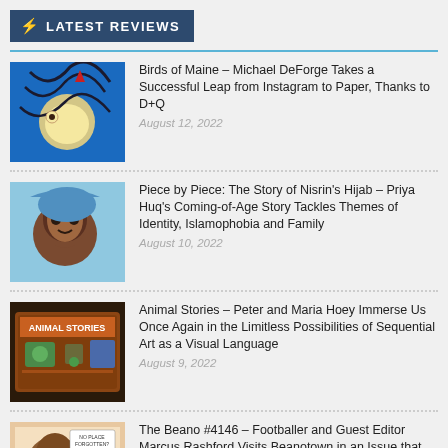⚡ LATEST REVIEWS
Birds of Maine – Michael DeForge Takes a Successful Leap from Instagram to Paper, Thanks to D+Q
August 12, 2022
Piece by Piece: The Story of Nisrin's Hijab – Priya Huq's Coming-of-Age Story Tackles Themes of Identity, Islamophobia and Family
August 10, 2022
Animal Stories – Peter and Maria Hoey Immerse Us Once Again in the Limitless Possibilities of Sequential Art as a Visual Language
August 9, 2022
The Beano #4146 – Footballer and Guest Editor Marcus Rashford Visits Beanotown in an Issue that Emphasises the Comic's Inclusive and Socially Relevant Credentials